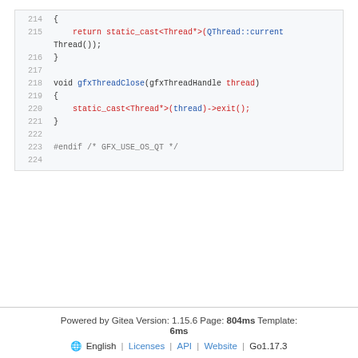[Figure (screenshot): Code block showing C++ source lines 214-224 with syntax highlighting. Lines include static_cast, gfxThreadClose, and #endif preprocessor directive.]
Powered by Gitea Version: 1.15.6 Page: 804ms Template: 6ms English | Licenses | API | Website | Go1.17.3